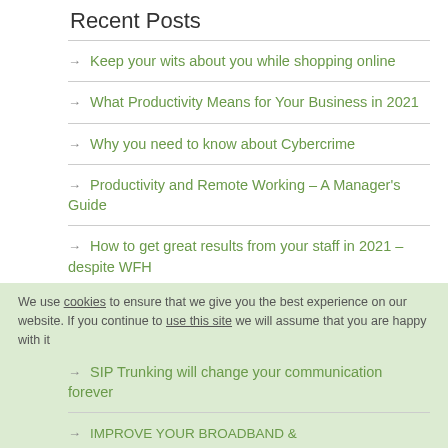Recent Posts
Keep your wits about you while shopping online
What Productivity Means for Your Business in 2021
Why you need to know about Cybercrime
Productivity and Remote Working – A Manager's Guide
How to get great results from your staff in 2021 – despite WFH
SIP Trunking will change your communication forever
We use cookies to ensure that we give you the best experience on our website. If you continue to use this site we will assume that you are happy with it
IMPROVE YOUR BROADBAND &